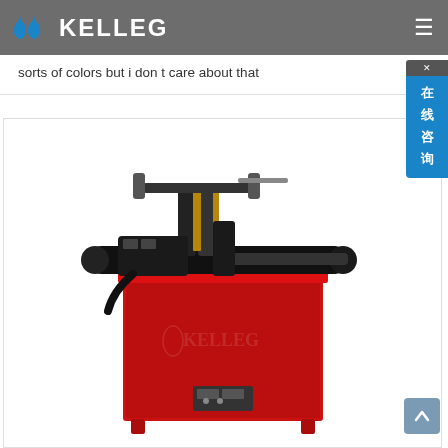KELLEG
sorts of colors but i don t care about that
[Figure (photo): Red industrial pipe welding or threading machine with KELLEG branding on the body. The machine features black mechanical components on top including clamps and a long arm/barrel, mounted on a red cabinet-style base with control panel buttons at the front.]
[Figure (other): Blue scroll-up arrow button in the bottom right corner]